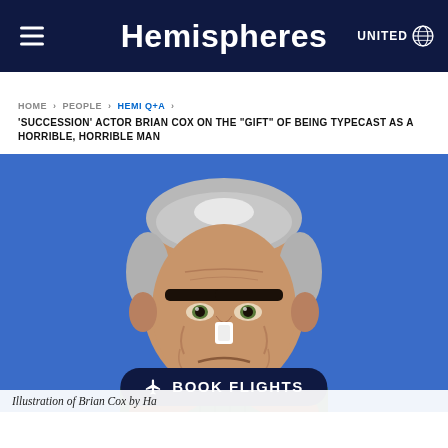Hemispheres | UNITED
HOME > PEOPLE > HEMI Q+A > 'SUCCESSION' ACTOR BRIAN COX ON THE "GIFT" OF BEING TYPECAST AS A HORRIBLE, HORRIBLE MAN
[Figure (illustration): Illustrated portrait of Brian Cox as Logan Roy, a grumpy older man with grey hair, heavy dark eyebrows, wearing a green sweater with brown collar patches, on a blue background.]
Illustration of Brian Cox by Ha[rrison]